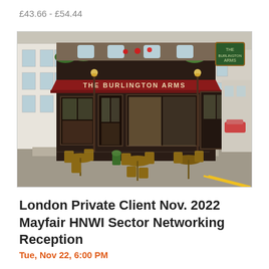£43.66 - £54.44
[Figure (photo): Exterior photo of The Burlington Arms pub in Mayfair, London. A dark wood-fronted building with a red awning reading 'The Burlington Arms', green plants on top, outdoor wooden chairs and tables on the pavement, and a street lamp on the corner.]
London Private Client Nov. 2022 Mayfair HNWI Sector Networking Reception
Tue, Nov 22, 6:00 PM